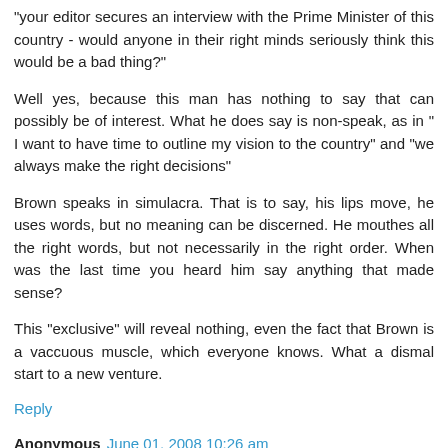"your editor secures an interview with the Prime Minister of this country - would anyone in their right minds seriously think this would be a bad thing?"
Well yes, because this man has nothing to say that can possibly be of interest. What he does say is non-speak, as in " I want to have time to outline my vision to the country" and "we always make the right decisions"
Brown speaks in simulacra. That is to say, his lips move, he uses words, but no meaning can be discerned. He mouthes all the right words, but not necessarily in the right order. When was the last time you heard him say anything that made sense?
This "exclusive" will reveal nothing, even the fact that Brown is a vaccuous muscle, which everyone knows. What a dismal start to a new venture.
Reply
Anonymous June 01, 2008 10:26 am